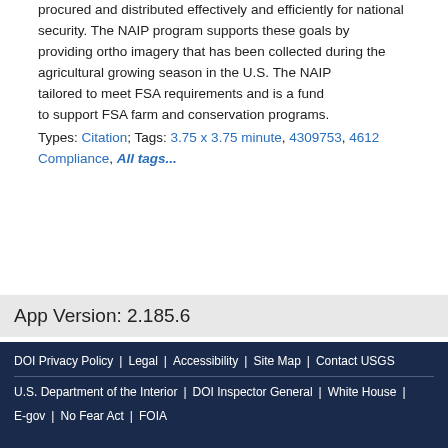procured and distributed effectively and efficiently for national security. The NAIP program supports these goals by providing ortho imagery that has been collected during the agricultural growing season in the U.S. The NAIP program is tailored to meet FSA requirements and is a fundamental tool to support FSA farm and conservation programs.
Types: Citation; Tags: 3.75 x 3.75 minute, 4309753, 4612... Compliance, All tags...
App Version: 2.185.6
DOI Privacy Policy | Legal | Accessibility | Site Map | Contact USGS | U.S. Department of the Interior | DOI Inspector General | White House | E-gov | No Fear Act | FOIA